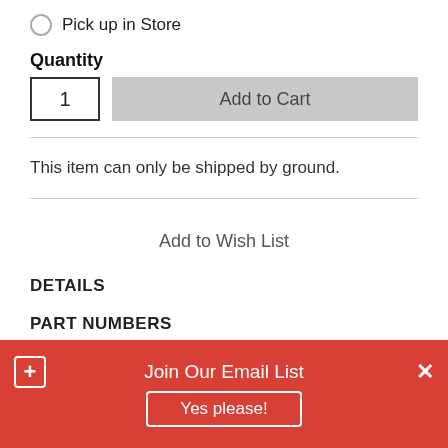Pick up in Store
Quantity
1   Add to Cart
This item can only be shipped by ground.
Add to Wish List
DETAILS
PART NUMBERS
Join Our Email List
Yes please!